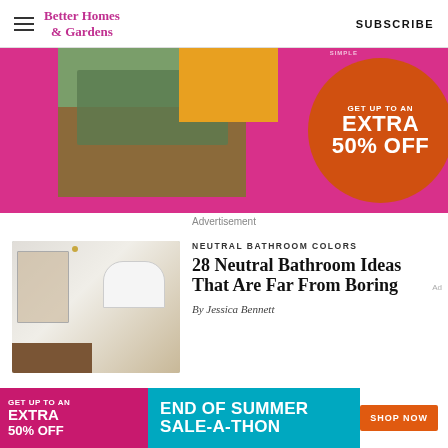Better Homes & Gardens  SUBSCRIBE
[Figure (illustration): Better Homes & Gardens subscription advertisement banner with pink background, outdoor furniture photo, fruit/vegetable photo, and orange circle with 'GET UP TO AN EXTRA 50% OFF' text]
Advertisement
[Figure (photo): Neutral bathroom with white tiles, freestanding tub, wooden vanity with hairpin legs, and gold fixtures]
NEUTRAL BATHROOM COLORS
28 Neutral Bathroom Ideas That Are Far From Boring
By Jessica Bennett
[Figure (illustration): Bottom banner ad: pink left side with 'GET UP TO AN EXTRA 50% OFF', teal center with 'END OF SUMMER SALE-A-THON', orange 'SHOP NOW' button]